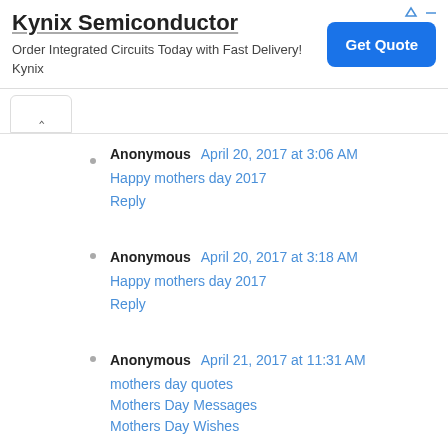[Figure (screenshot): Advertisement banner for Kynix Semiconductor with title, description text, and blue Get Quote button]
Anonymous April 20, 2017 at 3:06 AM
Happy mothers day 2017
Reply
Anonymous April 20, 2017 at 3:18 AM
Happy mothers day 2017
Reply
Anonymous April 21, 2017 at 11:31 AM
mothers day quotes
Mothers Day Messages
Mothers Day Wishes